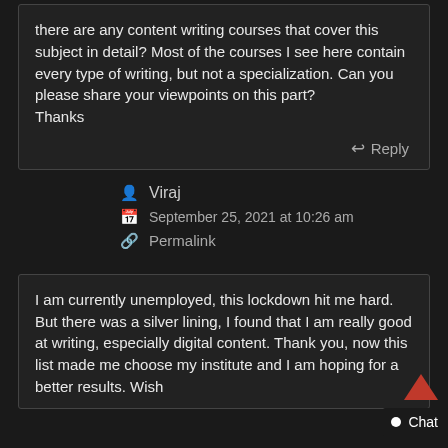there are any content writing courses that cover this subject in detail? Most of the courses I see here contain every type of writing, but not a specialization. Can you please share your viewpoints on this part?
Thanks
Reply
Viraj
September 25, 2021 at 10:26 am
Permalink
I am currently unemployed, this lockdown hit me hard. But there was a silver lining, I found that I am really good at writing, especially digital content. Thank you, now this list made me choose my institute and I am hoping for a better results. Wish